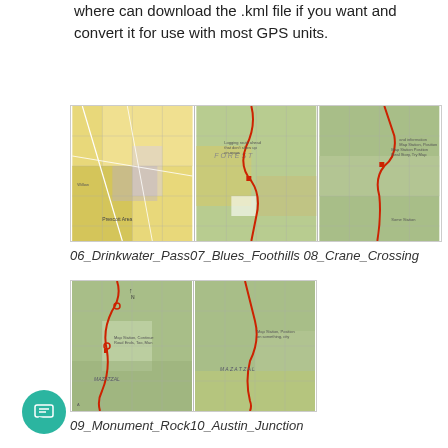where can download the .kml file if you want and convert it for use with most GPS units.
[Figure (map): Three topographic map panels showing hiking/trail routes with red path overlays. Left panel shows urban/suburban area with yellow and white regions. Middle panel labeled FOREST shows green terrain with red trail. Right panel shows similar green forested terrain with red trail route.]
06_Drinkwater_Pass07_Blues_Foothills 08_Crane_Crossing
[Figure (map): Two topographic map panels showing hiking/trail routes with red path overlays on green mountain terrain. Left panel shows trail winding through mountainous area. Right panel shows similar terrain with trail route.]
09_Monument_Rock10_Austin_Junction